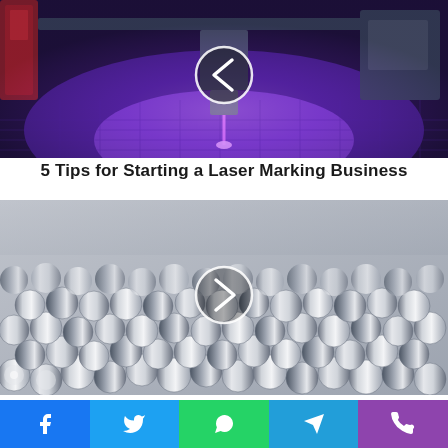[Figure (photo): Laser marking/engraving machine with purple/blue laser beam illuminating a metal workpiece surface in a manufacturing setting. A left-arrow navigation circle overlay is visible in the center.]
5 Tips for Starting a Laser Marking Business
[Figure (photo): Close-up of multiple stainless steel round metal rods/bars stacked together, showing their polished cylindrical ends. A right-arrow navigation circle overlay is visible in the center.]
Casting Stainless Steel Vs. Carbon Steel